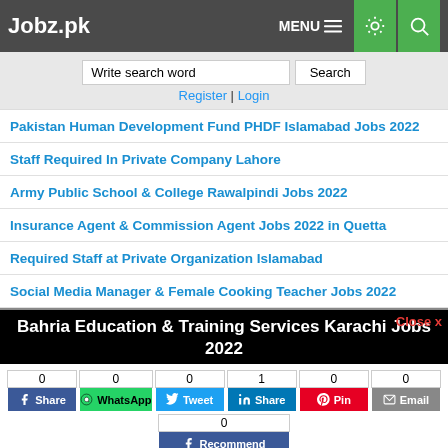Jobz.pk
Write search word | Search
Register | Login
Pakistan Human Development Fund PHDF Islamabad Jobs 2022
Staff Required In Private Company Lahore
Army Public School & College Rawalpindi Jobs 2022
Insurance Agent & Commission Agent Jobs 2022 in Quetta
Required Staff at Private Organization Islamabad
Social Media Manager & Female Cooking Teacher Jobs 2022
Bahria Education & Training Services Karachi Jobs 2022
0 Share | 0 WhatsApp | 0 Tweet | 1 Share | 0 Pin | 0 Email | 0 Recommend
Job Closed | Save | Comment | Print
SPSC | KPPSC